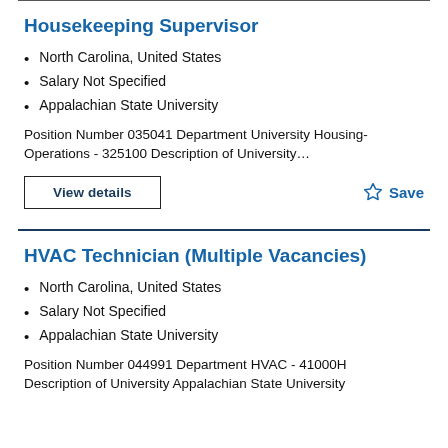Housekeeping Supervisor
North Carolina, United States
Salary Not Specified
Appalachian State University
Position Number 035041 Department University Housing-Operations - 325100 Description of University…
View details
Save
HVAC Technician (Multiple Vacancies)
North Carolina, United States
Salary Not Specified
Appalachian State University
Position Number 044991 Department HVAC - 41000H Description of University Appalachian State University